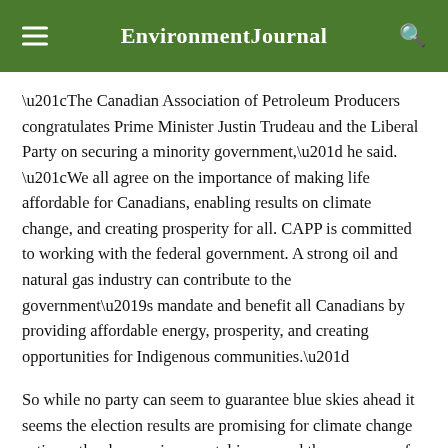Environment Journal
“The Canadian Association of Petroleum Producers congratulates Prime Minister Justin Trudeau and the Liberal Party on securing a minority government,” he said. “We all agree on the importance of making life affordable for Canadians, enabling results on climate change, and creating prosperity for all. CAPP is committed to working with the federal government. A strong oil and natural gas industry can contribute to the government’s mandate and benefit all Canadians by providing affordable energy, prosperity, and creating opportunities for Indigenous communities.”
So while no party can seem to guarantee blue skies ahead it seems the election results are promising for climate change action, other key environmental issues and the economy of the environment sector.